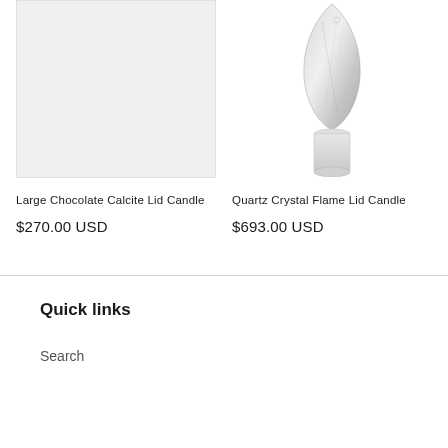[Figure (photo): Large Chocolate Calcite Lid Candle product image — light gray/white background placeholder]
[Figure (photo): Quartz Crystal Flame Lid Candle product image — a transparent crystal flame shape mounted on a small white cylindrical base]
Large Chocolate Calcite Lid Candle
$270.00 USD
Quartz Crystal Flame Lid Candle
$693.00 USD
Quick links
Search